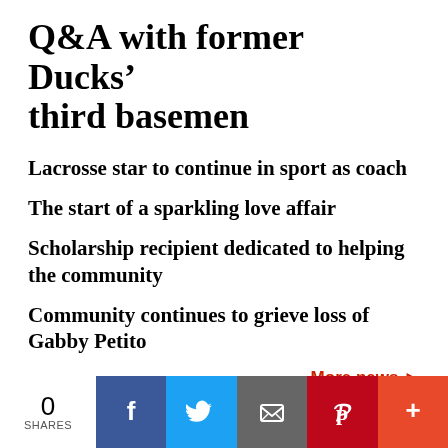Q&A with former Ducks’ third basemen
Lacrosse star to continue in sport as coach
The start of a sparkling love affair
Scholarship recipient dedicated to helping the community
Community continues to grieve loss of Gabby Petito
More news ▶
0 SHARES | Facebook | Twitter | Email | Pinterest | More